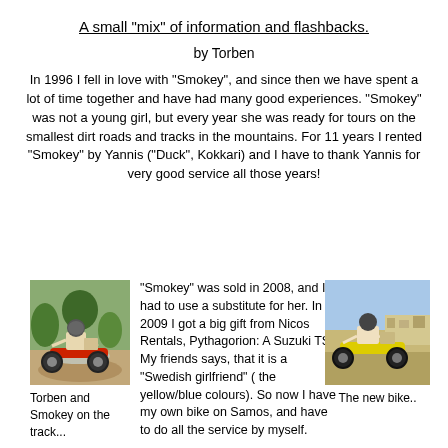A small "mix" of information and flashbacks.
by Torben
In 1996 I fell in love with "Smokey", and since then we have spent a lot of time together and have had many good experiences. "Smokey" was not a young girl, but every year she was ready for tours on the smallest dirt roads and tracks in the mountains. For 11 years I rented "Smokey" by Yannis ("Duck", Kokkari) and I have to thank Yannis for very good service all those years!
[Figure (photo): Person riding a red dirt bike on a dirt track with trees in background]
"Smokey" was sold in 2008, and I had to use a substitute for her. In 2009 I got a big gift from Nicos Rentals, Pythagorion: A Suzuki TS!! My friends says, that it is a "Swedish girlfriend" ( the yellow/blue colours). So now I have my own bike on Samos, and have to do all the service by myself.
[Figure (photo): Person riding a yellow dirt bike with hills and buildings in background]
Torben and Smokey on the track...
The new bike..